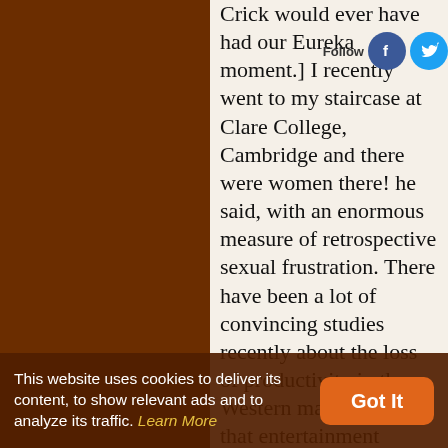Crick would ever have had our Eureka moment.] I recently went to my staircase at Clare College, Cambridge and there were women there! he said, with an enormous measure of retrospective sexual frustration. There have been a lot of convincing studies recently about the loss of productivity in the Western male. It may be that entertainment keeps page satisfied. We didn't have that. Science
This website uses cookies to deliver its content, to show relevant ads and to analyze its traffic. Learn More Got It